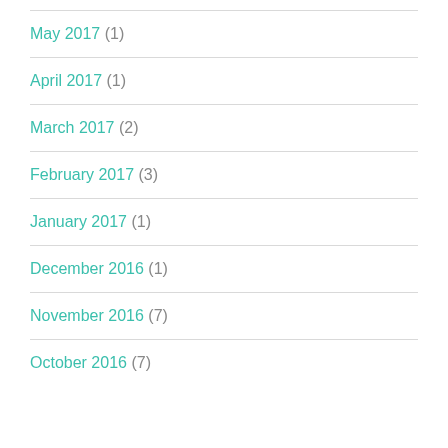May 2017 (1)
April 2017 (1)
March 2017 (2)
February 2017 (3)
January 2017 (1)
December 2016 (1)
November 2016 (7)
October 2016 (7)